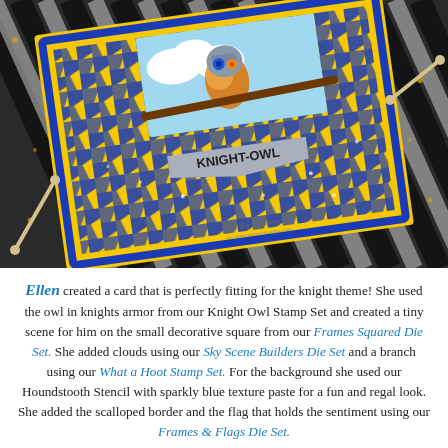[Figure (photo): A handmade craft card featuring an owl in knight's armor, placed on a yellow card with a blue and yellow houndstooth stencil background, scalloped border, and a banner reading 'KNIGHT-OWL'. The card is photographed on a black and white striped surface with scattered sequins and small wooden sticks.]
Ellen created a card that is perfectly fitting for the knight theme! She used the owl in knights armor from our Knight Owl Stamp Set and created a tiny scene for him on the small decorative square from our Frames Squared Die Set. She added clouds using our Sky Scene Builders Die Set and a branch using our What a Hoot Stamp Set. For the background she used our Houndstooth Stencil with sparkly blue texture paste for a fun and regal look. She added the scalloped border and the flag that holds the sentiment using our Frames & Flags Die Set.